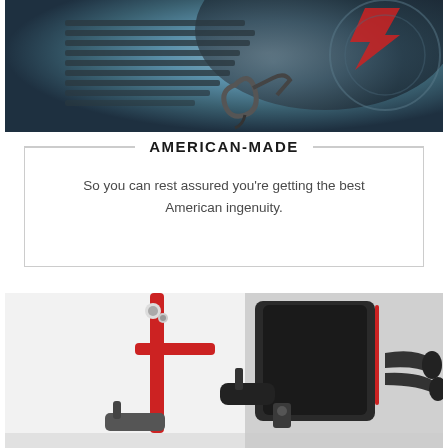[Figure (photo): Close-up photo of exercise equipment or mechanical component, showing dark metallic parts with blue/grey tones]
AMERICAN-MADE
So you can rest assured you’re getting the best American ingenuity.
[Figure (photo): Photo of a red and black exercise machine (recumbent bike or similar), showing seat, armrests, and handlebars]